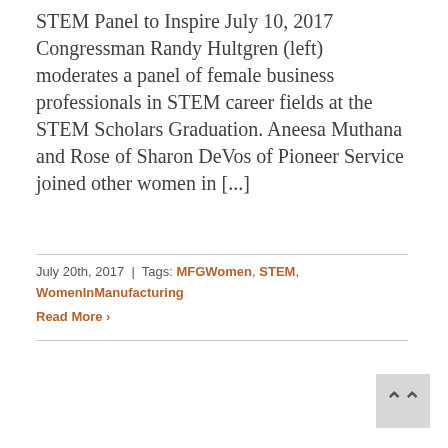STEM Panel to Inspire July 10, 2017 Congressman Randy Hultgren (left) moderates a panel of female business professionals in STEM career fields at the STEM Scholars Graduation. Aneesa Muthana and Rose of Sharon DeVos of Pioneer Service joined other women in [...]
July 20th, 2017  |  Tags: MFGWomen, STEM, WomenInManufacturing
Read More ›